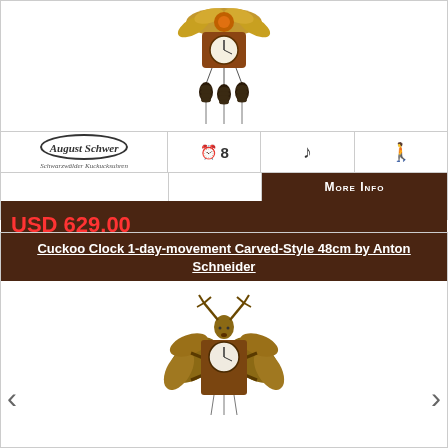[Figure (photo): Cuckoo clock with pine cone weights, August Schwer brand, top portion visible]
| [August Schwer logo] | ⏰ 8 | ♪ | 🚶 |
|  |  | More Info |  |
USD 629.00
in stock - ready to ship in 24 hours
Cuckoo Clock 1-day-movement Carved-Style 48cm by Anton Schneider
[Figure (photo): Cuckoo clock carved style with deer head and crossed rifles decoration, Anton Schneider brand]